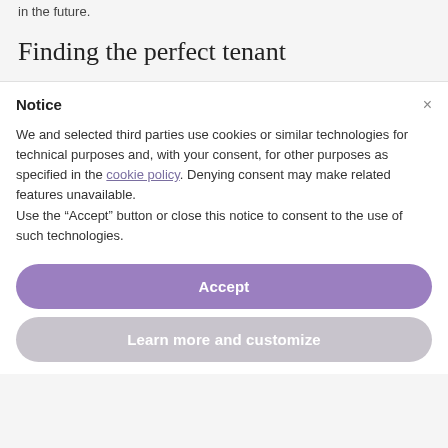in the future.
Finding the perfect tenant
Notice
We and selected third parties use cookies or similar technologies for technical purposes and, with your consent, for other purposes as specified in the cookie policy. Denying consent may make related features unavailable.
Use the “Accept” button or close this notice to consent to the use of such technologies.
Accept
Learn more and customize